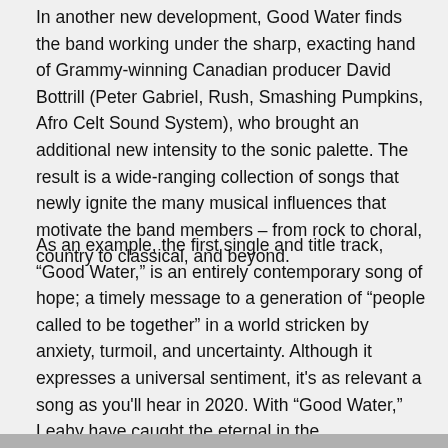In another new development, Good Water finds the band working under the sharp, exacting hand of Grammy-winning Canadian producer David Bottrill (Peter Gabriel, Rush, Smashing Pumpkins, Afro Celt Sound System), who brought an additional new intensity to the sonic palette. The result is a wide-ranging collection of songs that newly ignite the many musical influences that motivate the band members – from rock to choral, country to classical, and beyond.
As an example, the first single and title track, “Good Water,” is an entirely contemporary song of hope; a timely message to a generation of “people called to be together” in a world stricken by anxiety, turmoil, and uncertainty. Although it expresses a universal sentiment, it's as relevant a song as you'll hear in 2020. With “Good Water,” Leahy have caught the eternal in the commonplace, and captured a feeling we can all recognize now, across the globe.